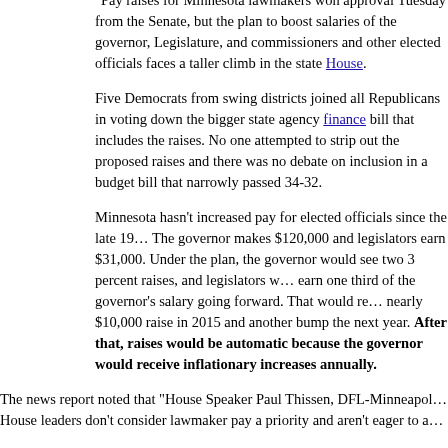"Pay raises for Minnesota lawmakers won approval Tuesday from the Senate, but the plan to boost salaries of the governor, Legislature, and commissioners and other elected officials faces a taller climb in the state House.
Five Democrats from swing districts joined all Republicans in voting down the bigger state agency finance bill that includes the raises. No one attempted to strip out the proposed raises and there was no debate on inclusion in a budget bill that narrowly passed 34-32.
Minnesota hasn't increased pay for elected officials since the late 1990s. The governor makes $120,000 and legislators earn $31,000. Under the plan, the governor would see two 3 percent raises, and legislators would earn one third of the governor's salary going forward. That would result in a nearly $10,000 raise in 2015 and another bump the next year. After that, raises would be automatic because the governor would receive inflationary increases annually.
The news report noted that "House Speaker Paul Thissen, DFL-Minneapolis said House leaders don't consider lawmaker pay a priority and aren't eager to act."
But Tom Bakk felt his colleagues' pain:
Senate Majority Leader Tom Bakk, DFL-Cook, said his caucus contemplated removing the pay raises but decided to move ahead. He argues that stagnant pay has made holding office less attractive and could eventually lead to a Legislature where only retirees or those with personal wealth can serve.
"It's a tough vote. It's never easy to take a vote to raise your own pay," he said.
Apparently easier than increasing the wages of the lowest-paid Minnesota